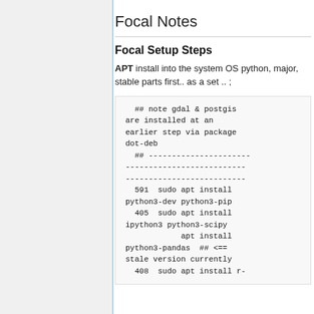Focal Notes
Focal Setup Steps
APT install into the system OS python, major, stable parts first.. as a set .. ;
## note gdal & postgis are installed at an earlier step via package dot-deb
  ## ------------------------------------------------------------------------
  591  sudo apt install python3-dev python3-pip
  405  sudo apt install ipython3 python3-scipy
            apt install python3-pandas  ## <== stale version currently
  408  sudo apt install r-...